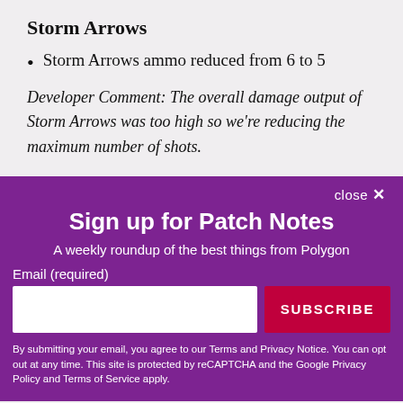Storm Arrows
Storm Arrows ammo reduced from 6 to 5
Developer Comment: The overall damage output of Storm Arrows was too high so we're reducing the maximum number of shots.
close ✕
Sign up for Patch Notes
A weekly roundup of the best things from Polygon
Email (required)
SUBSCRIBE
By submitting your email, you agree to our Terms and Privacy Notice. You can opt out at any time. This site is protected by reCAPTCHA and the Google Privacy Policy and Terms of Service apply.